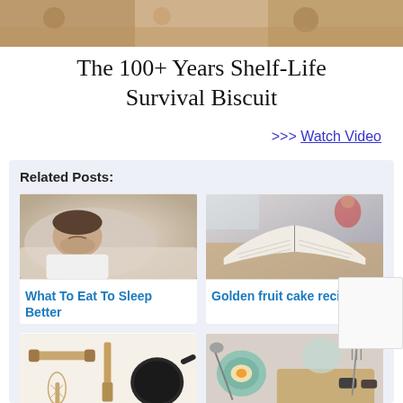[Figure (photo): Top banner image showing biscuits or baked goods, brownish textured background]
The 100+ Years Shelf-Life Survival Biscuit
>>> Watch Video
Related Posts:
[Figure (photo): Man sleeping on a pillow in bed, wearing white t-shirt]
What To Eat To Sleep Better
[Figure (photo): Open book on a wooden table with blurred background showing a person in red]
Golden fruit cake recipe
[Figure (photo): Kitchen utensils including rolling pin, spatula, whisk, and black frying pan on white background]
[Figure (photo): Overhead view of food items including eggs, bread, and plates on a surface]